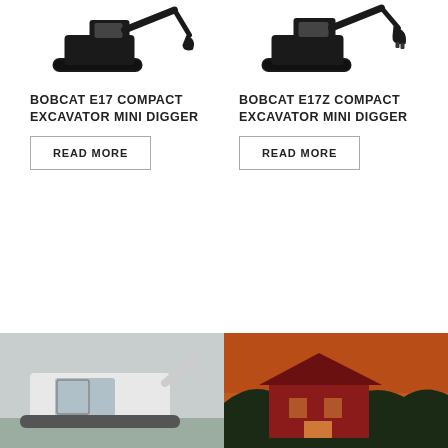[Figure (photo): Bobcat E17 compact excavator mini digger product photo, top portion visible, dark machine on white background]
[Figure (photo): Bobcat E17Z compact excavator mini digger product photo, top portion visible with bucket attachment, dark machine on white background]
BOBCAT E17 COMPACT EXCAVATOR MINI DIGGER
BOBCAT E17Z COMPACT EXCAVATOR MINI DIGGER
READ MORE
READ MORE
[Figure (photo): White Bobcat compact track loader or similar machine cab, overcast sky background]
[Figure (photo): Red building or barn at dusk with trees, dark orange sky]